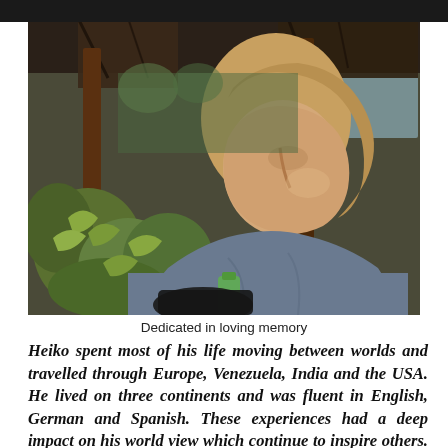[Figure (photo): A man with medium-length blond hair, seen in profile/three-quarter view, wearing a grey-blue shirt. He is sitting under a thatched roof structure with green bananas/plantains visible behind him and a river or lake in the background. A green bottle is visible in the lower center.]
Dedicated in loving memory
Heiko spent most of his life moving between worlds and travelled through Europe, Venezuela, India and the USA. He lived on three continents and was fluent in English, German and Spanish. These experiences had a deep impact on his world view which continue to inspire others. I am very grateful